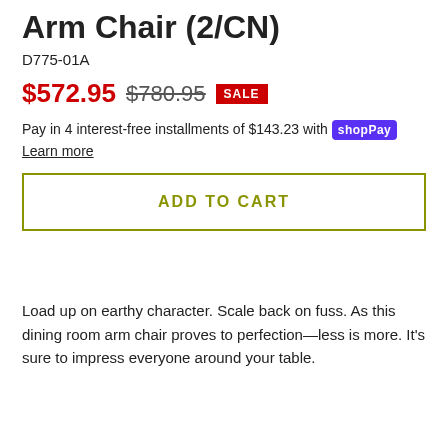Arm Chair (2/CN)
D775-01A
$572.95  $780.95  SALE
Pay in 4 interest-free installments of $143.23 with shopPay Learn more
ADD TO CART
Load up on earthy character. Scale back on fuss. As this dining room arm chair proves to perfection—less is more. It's sure to impress everyone around your table.